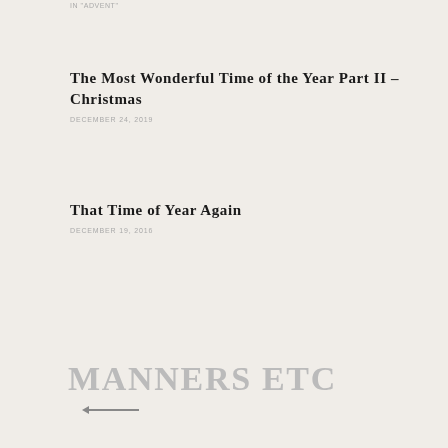IN "ADVENT"
The Most Wonderful Time of the Year Part II – Christmas
DECEMBER 24, 2019
That Time of Year Again
DECEMBER 19, 2016
MANNERS ETC